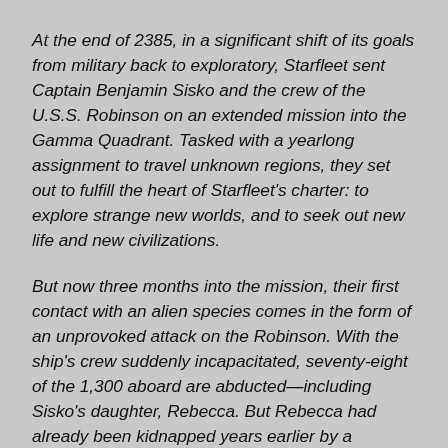At the end of 2385, in a significant shift of its goals from military back to exploratory, Starfleet sent Captain Benjamin Sisko and the crew of the U.S.S. Robinson on an extended mission into the Gamma Quadrant. Tasked with a yearlong assignment to travel unknown regions, they set out to fulfill the heart of Starfleet's charter: to explore strange new worlds, and to seek out new life and new civilizations.
But now three months into the mission, their first contact with an alien species comes in the form of an unprovoked attack on the Robinson. With the ship's crew suddenly incapacitated, seventy-eight of the 1,300 aboard are abducted—including Sisko's daughter, Rebecca. But Rebecca had already been kidnapped years earlier by a Bajoran religious zealot, part of a sect believing that her birth fulfilled the prophecy of the arrival of the Infant Avatar. Does her disappearance now have anything to do with the